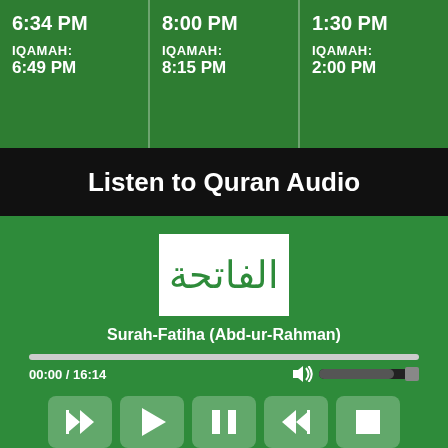6:34 PM IQAMAH: 6:49 PM
8:00 PM IQAMAH: 8:15 PM
1:30 PM IQAMAH: 2:00 PM
Listen to Quran Audio
[Figure (screenshot): Quran audio player showing Surah-Fatiha artwork, progress bar, time display 00:00 / 16:14, volume control, and playback buttons]
Surah-Fatiha (Abd-ur-Rahman)
00:00 / 16:14